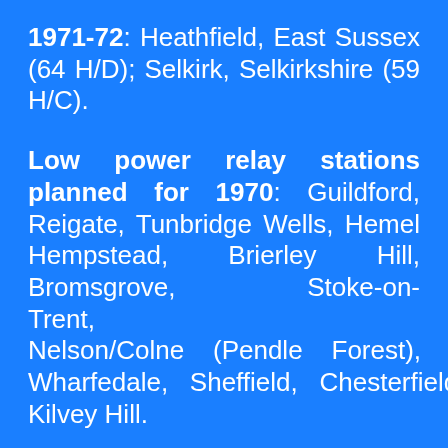1971-72: Heathfield, East Sussex (64 H/D); Selkirk, Selkirkshire (59 H/C).
Low power relay stations planned for 1970: Guildford, Reigate, Tunbridge Wells, Hemel Hempstead, Brierley Hill, Bromsgrove, Stoke-on-Trent, Nelson/Colne (Pendle Forest), Wharfedale, Sheffield, Chesterfield, Kilvey Hill.
Low power relay stations planned for 1971 or early 1972: Hertford, High Wycombe, Kidderminster, Malvern, Lark Stoke, Darwen, Haslingden, Skipton, Todmorden, Saddleworth, Lancaster,